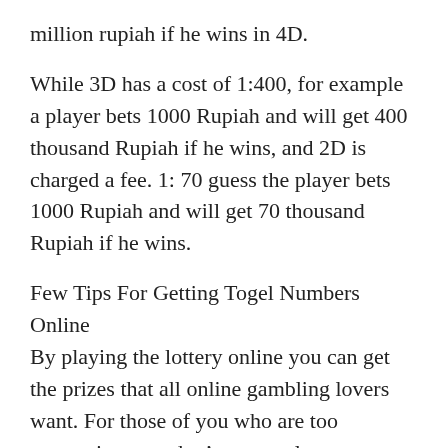million rupiah if he wins in 4D.
While 3D has a cost of 1:400, for example a player bets 1000 Rupiah and will get 400 thousand Rupiah if he wins, and 2D is charged a fee. 1: 70 guess the player bets 1000 Rupiah and will get 70 thousand Rupiah if he wins.
Few Tips For Getting Togel Numbers Online
By playing the lottery online you can get the prizes that all online gambling lovers want. For those of you who are too aggressive, you don’t want to lose to players who often play online lottery gambling. Of course you can find out and benefit from players who are experts in playing lottery.
Obviously they have dominated the way to get the right numbers in playing the online lottery. For that the playing